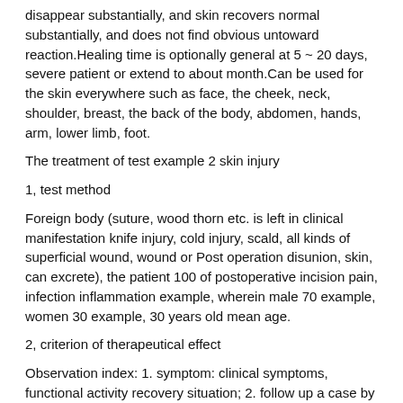disappear substantially, and skin recovers normal substantially, and does not find obvious untoward reaction.Healing time is optionally general at 5 ~ 20 days, severe patient or extend to about month.Can be used for the skin everywhere such as face, the cheek, neck, shoulder, breast, the back of the body, abdomen, hands, arm, lower limb, foot.
The treatment of test example 2 skin injury
1, test method
Foreign body (suture, wood thorn etc. is left in clinical manifestation knife injury, cold injury, scald, all kinds of superficial wound, wound or Post operation disunion, skin, can excrete), the patient 100 of postoperative incision pain, infection inflammation example, wherein male 70 example, women 30 example, 30 years old mean age.
2, criterion of therapeutical effect
Observation index: 1. symptom: clinical symptoms, functional activity recovery situation; 2. follow up a case by regular visits to: all patients is followed up a case by regular visits to; 3. untoward reaction.